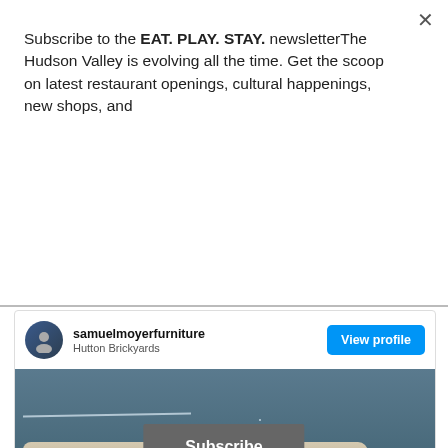Subscribe to the EAT. PLAY. STAY. newsletterThe Hudson Valley is evolving all the time. Get the scoop on latest restaurant openings, cultural happenings, new shops, and
Subscribe
# SamuelMoyer Furniture, Staatsburg
[Figure (screenshot): Instagram embed card showing samuelmoyerfurniture account at Hutton Brickyards with a View profile button and a photo of a stone/wood slab furniture piece on a dark blue background]